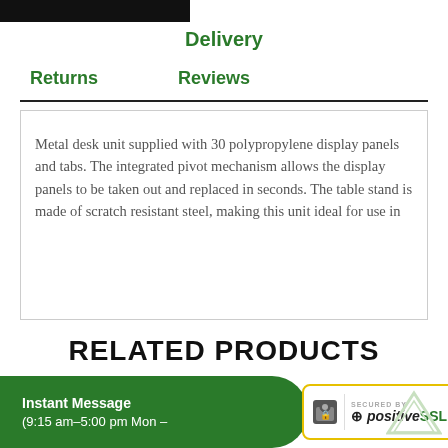Delivery
Returns    Reviews
Metal desk unit supplied with 30 polypropylene display panels and tabs. The integrated pivot mechanism allows the display panels to be taken out and replaced in seconds. The table stand is made of scratch resistant steel, making this unit ideal for use in
RELATED PRODUCTS
Instant Message (9:15 am–5:00 pm Mon –